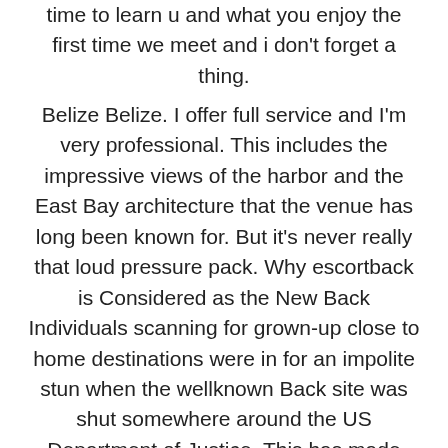time to learn u and what you enjoy the first time we meet and i don't forget a thing.
Belize Belize. I offer full service and I'm very professional. This includes the impressive views of the harbor and the East Bay architecture that the venue has long been known for. But it's never really that loud pressure pack. Why escortback is Considered as the New Back Individuals scanning for grown-up close to home destinations were in for an impolite stun when the wellknown Back site was shut somewhere around the US Department of Justice. This has made destinations like Back, pitchtheir administrations attempting to out beat each other with their offers.